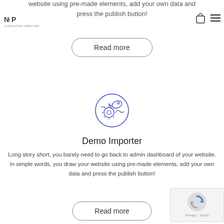website using pre-made elements, add your own data and press the publish button!
[Figure (logo): NfP logo with small text underneath]
[Figure (other): Shopping bag icon and hamburger menu icon in top right]
[Figure (illustration): Circular blue/purple icon with fish and gear/eye motifs]
Read more
Demo Importer
Long story short, you barely need to go back to admin dashboard of your website. In simple words, you draw your website using pre-made elements, add your own data and press the publish button!
Read more
[Figure (other): reCAPTCHA overlay widget with Google logo]